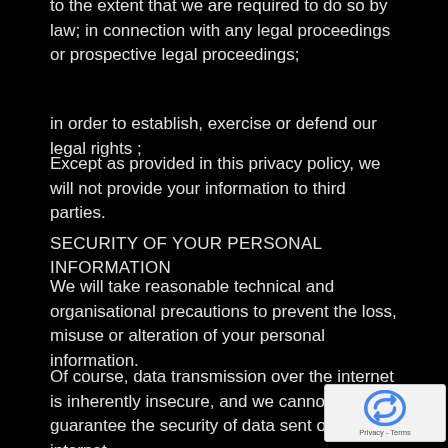to the extent that we are required to do so by law; in connection with any legal proceedings or prospective legal proceedings;
in order to establish, exercise or defend our legal rights ;
Except as provided in this privacy policy, we will not provide your information to third parties.
SECURITY OF YOUR PERSONAL INFORMATION
We will take reasonable technical and organisational precautions to prevent the loss, misuse or alteration of your personal information.
Of course, data transmission over the internet is inherently insecure, and we cannot guarantee the security of data sent over the internet.
POLICY AMENDMENTS
We may update this privacy policy from time-to-time by posting a new version on our website. You should check